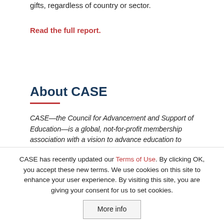gifts, regardless of country or sector.
Read the full report.
About CASE
CASE—the Council for Advancement and Support of Education—is a global, not-for-profit membership association with a vision to advance education to transform lives and society.
CASE has recently updated our Terms of Use. By clicking OK, you accept these new terms. We use cookies on this site to enhance your user experience. By visiting this site, you are giving your consent for us to set cookies.